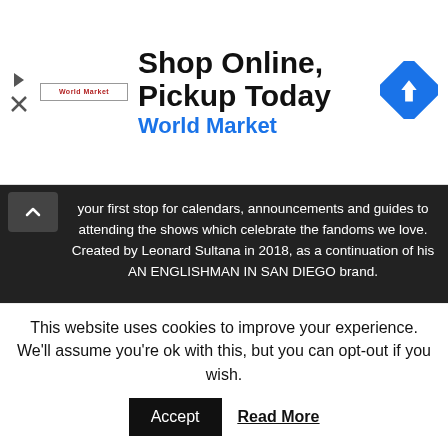[Figure (advertisement): World Market ad banner: logo on left, 'Shop Online, Pickup Today' headline, 'World Market' subheading in blue, navigation arrow icon on right]
your first stop for calendars, announcements and guides to attending the shows which celebrate the fandoms we love. Created by Leonard Sultana in 2018, as a continuation of his AN ENGLISHMAN IN SAN DIEGO brand.
Contact us: admin@theconventioncollective.com
FOLLOW US
[Figure (illustration): Social media icon buttons: Facebook, Instagram, Twitter/X, YouTube]
This website uses cookies to improve your experience. We'll assume you're ok with this, but you can opt-out if you wish.